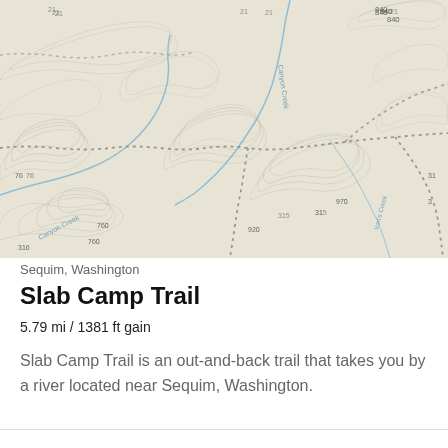[Figure (map): Topographic map showing Canyon Creek area near Sequim, Washington with contour lines, dotted trail paths, and blue creek lines. Terrain is hilly with labeled elevation points.]
Sequim, Washington
Slab Camp Trail
5.79 mi / 1381 ft gain
Slab Camp Trail is an out-and-back trail that takes you by a river located near Sequim, Washington.